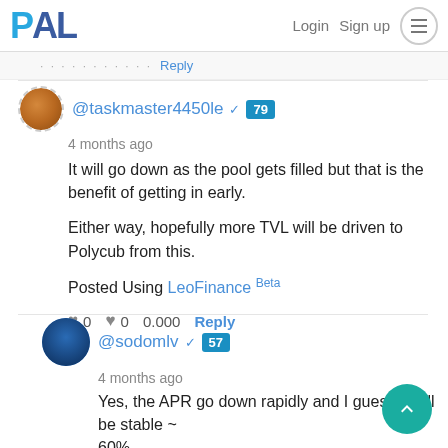PAL | Login  Sign up
... · Reply
@taskmaster4450le 79
4 months ago
It will go down as the pool gets filled but that is the benefit of getting in early.

Either way, hopefully more TVL will be driven to Polycub from this.

Posted Using LeoFinance Beta
♥ 0  ♥ 0  0.000  Reply
@sodomlv 57
4 months ago
Yes, the APR go down rapidly and I guess it will be stable ~
60%